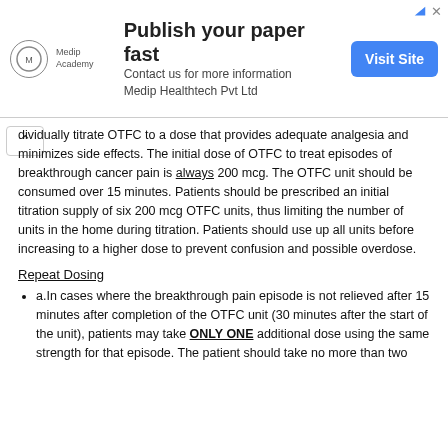[Figure (other): Advertisement banner for Medip Academy / Medip Healthtech Pvt Ltd: 'Publish your paper fast. Contact us for more information Medip Healthtech Pvt Ltd' with a blue 'Visit Site' button.]
dividually titrate OTFC to a dose that provides adequate analgesia and minimizes side effects. The initial dose of OTFC to treat episodes of breakthrough cancer pain is always 200 mcg. The OTFC unit should be consumed over 15 minutes. Patients should be prescribed an initial titration supply of six 200 mcg OTFC units, thus limiting the number of units in the home during titration. Patients should use up all units before increasing to a higher dose to prevent confusion and possible overdose.
Repeat Dosing
a.In cases where the breakthrough pain episode is not relieved after 15 minutes after completion of the OTFC unit (30 minutes after the start of the unit), patients may take ONLY ONE additional dose using the same strength for that episode. The patient should take no more than two...